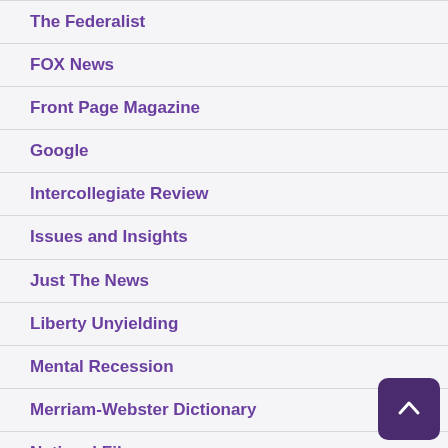The Federalist
FOX News
Front Page Magazine
Google
Intercollegiate Review
Issues and Insights
Just The News
Liberty Unyielding
Mental Recession
Merriam-Webster Dictionary
National File
The National Sentinel